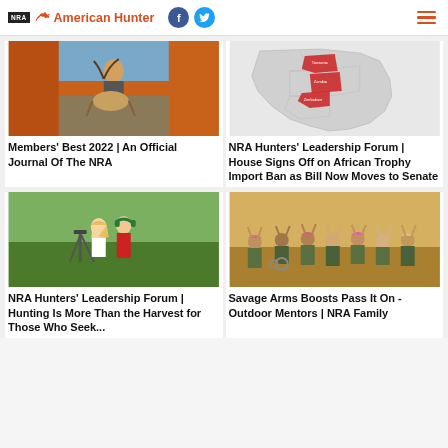NRA American Hunter
[Figure (photo): Hunter posing with antelope in field with orange background]
Members' Best 2022 | An Official Journal Of The NRA
[Figure (map): Map of Africa with red highlighted regions]
NRA Hunters' Leadership Forum | House Signs Off on African Trophy Import Ban as Bill Now Moves to Senate
[Figure (photo): Two women at shooting range, one coaching the other]
NRA Hunters' Leadership Forum | Hunting Is More Than the Harvest for Those Who Seek...
[Figure (photo): Group of hunters in camouflage celebrating outdoors, one in wheelchair]
Savage Arms Boosts Pass It On - Outdoor Mentors | NRA Family